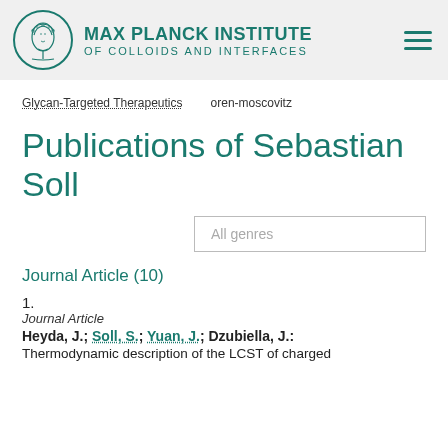MAX PLANCK INSTITUTE OF COLLOIDS AND INTERFACES
Glycan-Targeted Therapeutics   oren-moscovitz
Publications of Sebastian Soll
All genres
Journal Article (10)
1.
Journal Article
Heyda, J.; Soll, S.; Yuan, J.; Dzubiella, J.:
Thermodynamic description of the LCST of charged